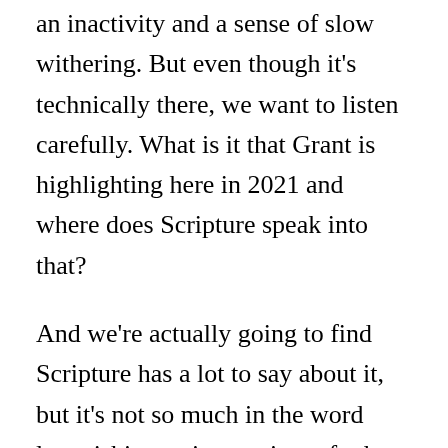an inactivity and a sense of slow withering. But even though it's technically there, we want to listen carefully. What is it that Grant is highlighting here in 2021 and where does Scripture speak into that?
And we're actually going to find Scripture has a lot to say about it, but it's not so much in the word languishing as in a variety of other places. So where does the Bible go with what Grant is calling languishing? Well, there's a bunch of things and we have a theology of the heart that actually allows us to have an